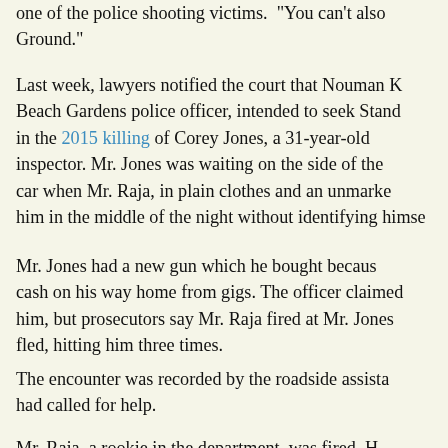one of the police shooting victims. "You can't also… Ground."
Last week, lawyers notified the court that Nouman K… Beach Gardens police officer, intended to seek Stand… in the 2015 killing of Corey Jones, a 31-year-old… inspector. Mr. Jones was waiting on the side of the… car when Mr. Raja, in plain clothes and an unmarke… him in the middle of the night without identifying himse…
Mr. Jones had a new gun which he bought becaus… cash on his way home from gigs. The officer claimed… him, but prosecutors say Mr. Raja fired at Mr. Jones… fled, hitting him three times.
The encounter was recorded by the roadside assista… had called for help.
Mr. Raja, a rookie in the department, was fired. H… hearing has been scheduled for March, when prose… mini-trial before the judge, who will decide whether to…
The hearing gives defendants a chance to beat th… Prosecutors have argued that officers already ha…